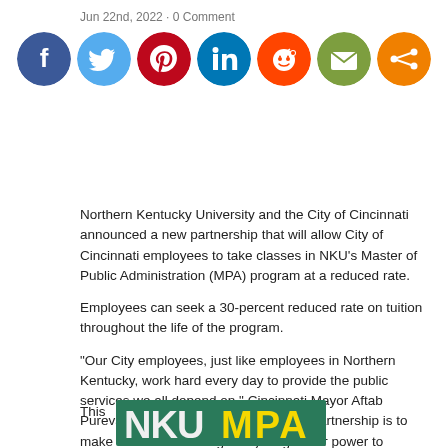Jun 22nd, 2022 · 0 Comment
[Figure (infographic): Seven social media share icons in colored circles: Facebook (dark blue), Twitter (light blue), Pinterest (red), LinkedIn (blue), Reddit (orange-red), Email (olive/green), Share (orange)]
Northern Kentucky University and the City of Cincinnati announced a new partnership that will allow City of Cincinnati employees to take classes in NKU's Master of Public Administration (MPA) program at a reduced rate.
Employees can seek a 30-percent reduced rate on tuition throughout the life of the program.
“Our City employees, just like employees in Northern Kentucky, work hard every day to provide the public services we all depend on,” Cincinnati Mayor Aftab Pureval said. “Our core focus with this partnership is to make sure we are doing everything in our power to support them. If you work for our City, and you want to continue building your skills and furthering your career, we want you to know that we are here to support you.”
This
[Figure (photo): NKU MPA banner/sign with yellow text on green/teal background, partially visible]